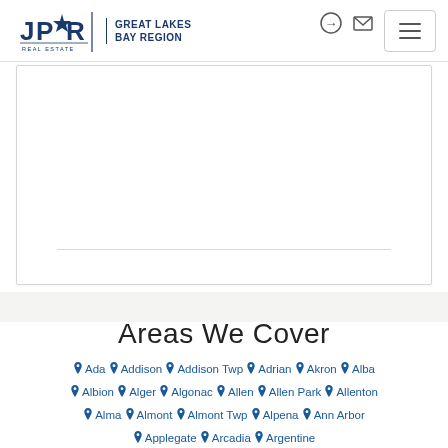JPR Real Estate Great Lakes Bay Region — navigation header with login and mail icons, hamburger menu
[Figure (logo): JPR Real Estate logo with star emblem and 'Great Lakes Bay Region' text beside it, with navigation icons (login arrow and mail envelope) in top right and a hamburger menu button]
Areas We Cover
Ada
Addison
Addison Twp
Adrian
Akron
Alba
Albion
Alger
Algonac
Allen
Allen Park
Allenton
Alma
Almont
Almont Twp
Alpena
Ann Arbor
Applegate
Arcadia
Argentine
Show More...